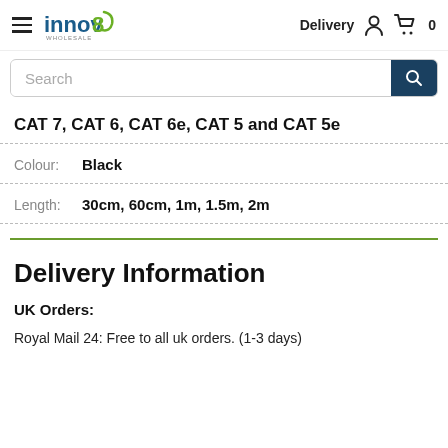innov8 Wholesale — Delivery | Account | Cart 0
Search
CAT 7, CAT 6, CAT 6e, CAT 5 and CAT 5e
Colour: Black
Length: 30cm, 60cm, 1m, 1.5m, 2m
Delivery Information
UK Orders:
Royal Mail 24: Free to all uk orders. (1-3 days)